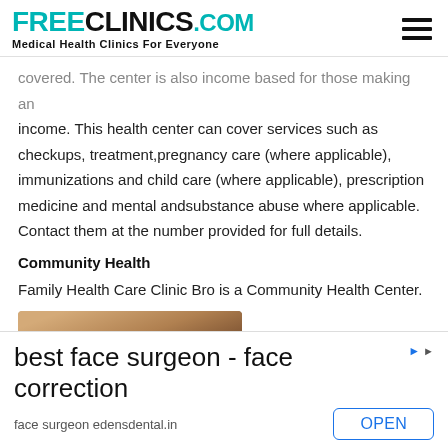FreeClinics.com - Medical Health Clinics For Everyone
covered. The center is also income based for those making an income. This health center can cover services such as checkups, treatment,pregnancy care (where applicable), immunizations and child care (where applicable), prescription medicine and mental andsubstance abuse where applicable. Contact them at the number provided for full details.
Community Health
Family Health Care Clinic Bro is a Community Health Center.
[Figure (photo): Partial photo of a person's head, cropped at bottom of page]
best face surgeon - face correction
face surgeon edensdental.in